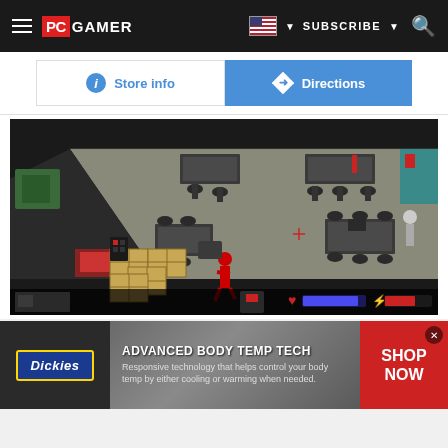PC GAMER | SUBSCRIBE
[Figure (screenshot): Store info and Directions buttons UI]
[Figure (screenshot): Isometric RPG/action game screenshot showing office environment with desks, chairs, crates, and a red character figure. HUD elements visible at bottom.]
[Figure (illustration): Dickies advertisement banner: ADVANCED BODY TEMP TECH - Responsive technology that helps control your body temp by either cooling or warming when needed. SHOP NOW button.]